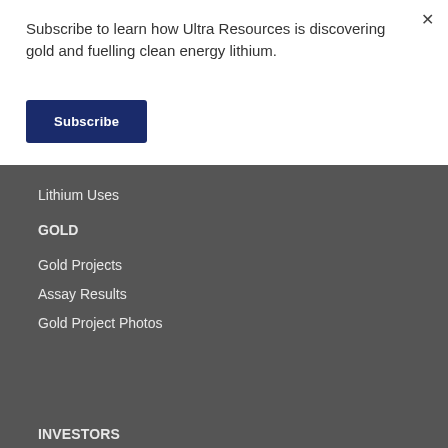Subscribe to learn how Ultra Resources is discovering gold and fuelling clean energy lithium.
Subscribe
Lithium Uses
GOLD
Gold Projects
Assay Results
Gold Project Photos
INVESTORS